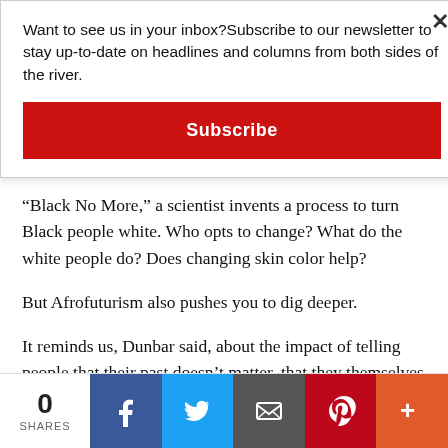Want to see us in your inbox?Subscribe to our newsletter to stay up-to-date on headlines and columns from both sides of the river.
Subscribe
“Black No More,” a scientist invents a process to turn Black people white. Who opts to change? What do the white people do? Does changing skin color help?
But Afrofuturism also pushes you to dig deeper.
It reminds us, Dunbar said, about the impact of telling people that their past doesn’t matter, that they themselves don’t matter, and that they have no future.
0 SHARES | Facebook | Twitter | Email | Pinterest | More